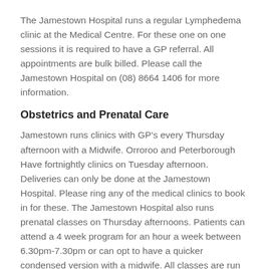The Jamestown Hospital runs a regular Lymphedema clinic at the Medical Centre. For these one on one sessions it is required to have a GP referral. All appointments are bulk billed. Please call the Jamestown Hospital on (08) 8664 1406 for more information.
Obstetrics and Prenatal Care
Jamestown runs clinics with GP's every Thursday afternoon with a Midwife. Orroroo and Peterborough Have fortnightly clinics on Tuesday afternoon. Deliveries can only be done at the Jamestown Hospital. Please ring any of the medical clinics to book in for these. The Jamestown Hospital also runs prenatal classes on Thursday afternoons. Patients can attend a 4 week program for an hour a week between 6.30pm-7.30pm or can opt to have a quicker condensed version with a midwife. All classes are run at the Jamestown hospital, please call them on (08) 8664 1406 for more information.
Podiatrist